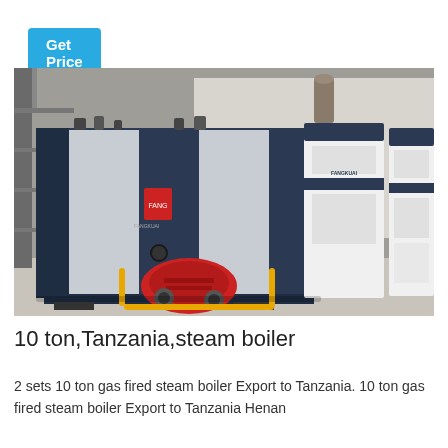Get Price
[Figure (photo): Two industrial gas-fired steam boilers inside a facility. The foreground unit is large, dark navy blue and silver/grey cladding with a red burner unit at the front connected by yellow gas piping. The background shows two additional white and navy blue boiler units side by side bearing the brand marking 'FANGKUAI'. The setting is an industrial building with a concrete floor.]
10 ton,Tanzania,steam boiler
2 sets 10 ton gas fired steam boiler Export to Tanzania. 10 ton gas fired steam boiler Export to Tanzania Henan